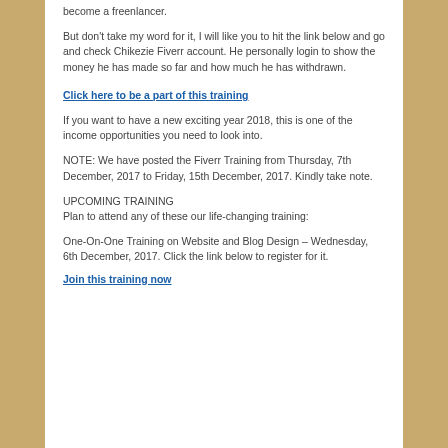become a freenlancer.
But don't take my word for it, I will like you to hit the link below and go and check Chikezie Fiverr account. He personally login to show the money he has made so far and how much he has withdrawn.
Click here to be a part of this training
If you want to have a new exciting year 2018, this is one of the income opportunities you need to look into.
NOTE: We have posted the Fiverr Training from Thursday, 7th December, 2017 to Friday, 15th December, 2017. Kindly take note.
UPCOMING TRAINING
Plan to attend any of these our life-changing training:
One-On-One Training on Website and Blog Design – Wednesday, 6th December, 2017. Click the link below to register for it.
Join this training now